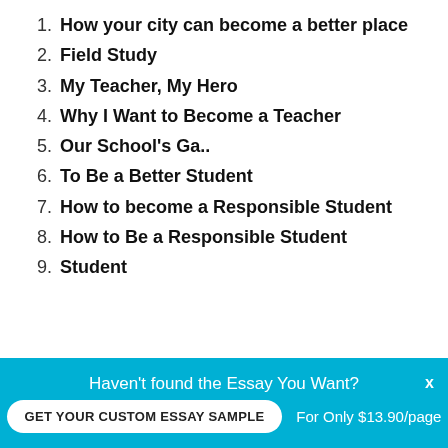1. How your city can become a better place
2. Field Study
3. My Teacher, My Hero
4. Why I Want to Become a Teacher
5. Our School's Ga..
6. To Be a Better Student
7. How to become a Responsible Student
8. How to Be a Responsible Student
9. Student
Haven't found the Essay You Want?
GET YOUR CUSTOM ESSAY SAMPLE
For Only $13.90/page
x